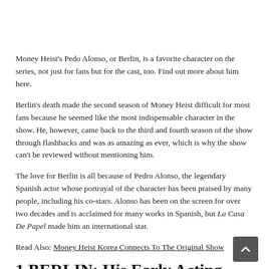Money Heist's Pedo Alonso, or Berlin, is a favorite character on the series, not just for fans but for the cast, too. Find out more about him here.
Berlin's death made the second season of Money Heist difficult for most fans because he seemed like the most indispensable character in the show. He, however, came back to the third and fourth season of the show through flashbacks and was as amazing as ever, which is why the show can't be reviewed without mentioning him.
The love for Berlin is all because of Pedro Alonso, the legendary Spanish actor whose portrayal of the character has been praised by many people, including his co-stars. Alonso has been on the screen for over two decades and is acclaimed for many works in Spanish, but La Casa De Papel made him an international star.
Read Also: Money Heist Korea Connects To The Original Show
1 BERLIN: His Early Acting Career